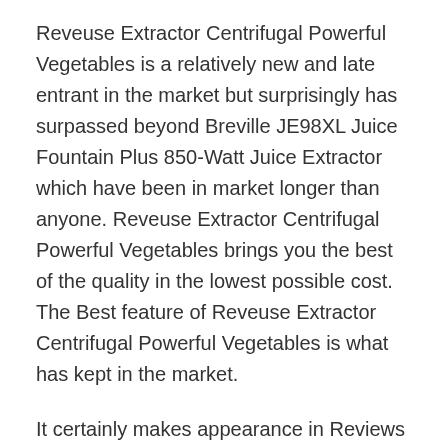Reveuse Extractor Centrifugal Powerful Vegetables is a relatively new and late entrant in the market but surprisingly has surpassed beyond Breville JE98XL Juice Fountain Plus 850-Watt Juice Extractor which have been in market longer than anyone. Reveuse Extractor Centrifugal Powerful Vegetables brings you the best of the quality in the lowest possible cost. The Best feature of Reveuse Extractor Centrifugal Powerful Vegetables is what has kept in the market.
It certainly makes appearance in Reviews of Sharper Image Super Juicer in 2020 owing to its price penetration strategy in the market. If you own a Sharper Image Super Juicer and it could be any of the high value Sharper Image Super Juicer, chances are that would be much costlier than Reveuse Extractor Centrifugal Powerful Vegetables. Reveuse Extractor Centrifugal Powerful Vegetables will